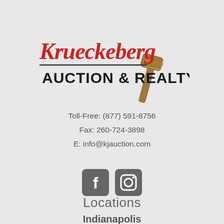[Figure (logo): Krueckeberg Auction & Realty logo with stylized cursive text and an auctioneer's gavel]
Toll-Free: (877) 591-8756
Fax: 260-724-3898
E: info@kjauction.com
[Figure (infographic): Facebook and Instagram social media icon buttons in dark grey rounded square style]
Locations
Indianapolis